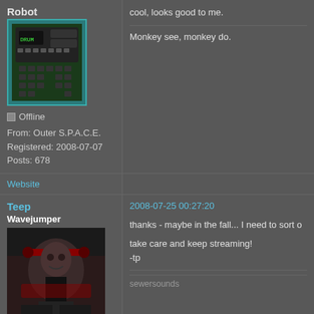Robot
[Figure (photo): Avatar image of a calculator/drum machine with cyan border]
Offline
From: Outer S.P.A.C.E.
Registered: 2008-07-07
Posts: 678
cool, looks good to me.
Monkey see, monkey do.
Website
Teep
Wavejumper
[Figure (photo): Avatar image of a DJ wearing headphones in dark/red lighting]
Offline
From: Pinehurst
Registered: 2008-07-14
Posts: 92
2008-07-25 00:27:20
thanks -  maybe in the fall... I need to sort o
take care and keep streaming!
-tp
sewersounds
Website
zora
robette f.t. ☆ ☆
2008-07-30 00:24:33
very nice one tonight, thx